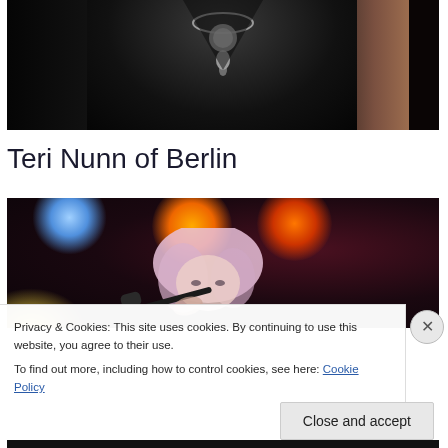[Figure (photo): Partial photo of a woman in a black outfit with a silver necklace/jewelry, dark hair visible on the right side, cropped to show neck and chest area]
Teri Nunn of Berlin
[Figure (photo): Concert photo of a blonde woman with pink hair holding a microphone on stage, with colorful stage lights (blue, orange/red) visible in the background]
Privacy & Cookies: This site uses cookies. By continuing to use this website, you agree to their use.
To find out more, including how to control cookies, see here: Cookie Policy
Close and accept